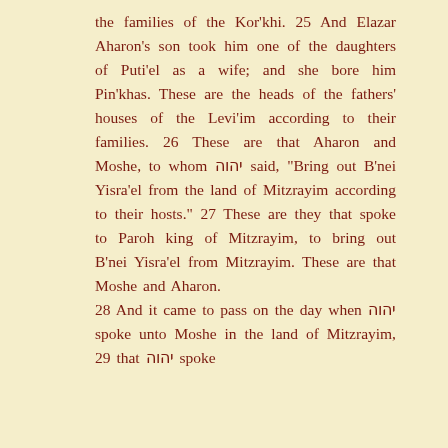the families of the Kor'khi. 25 And Elazar Aharon's son took him one of the daughters of Puti'el as a wife; and she bore him Pin'khas. These are the heads of the fathers' houses of the Levi'im according to their families. 26 These are that Aharon and Moshe, to whom יהוה said, "Bring out B'nei Yisra'el from the land of Mitzrayim according to their hosts." 27 These are they that spoke to Paroh king of Mitzrayim, to bring out B'nei Yisra'el from Mitzrayim. These are that Moshe and Aharon. 28 And it came to pass on the day when יהוה spoke unto Moshe in the land of Mitzrayim, 29 that יהוה spoke